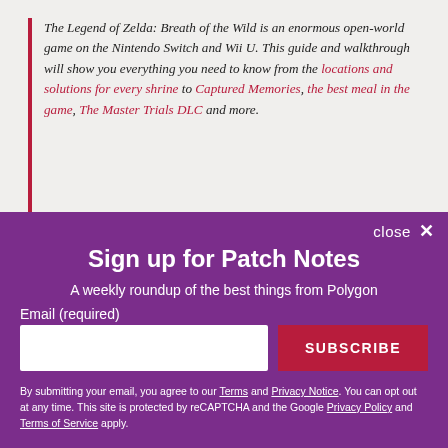The Legend of Zelda: Breath of the Wild is an enormous open-world game on the Nintendo Switch and Wii U. This guide and walkthrough will show you everything you need to know from the locations and solutions for every shrine to Captured Memories, the best meal in the game, The Master Trials DLC and more.
Master Mode, the new difficulty in The Legend of Zelda: Breath of the Wild's The Master Trials DLC,
close ✕
Sign up for Patch Notes
A weekly roundup of the best things from Polygon
Email (required)
SUBSCRIBE
By submitting your email, you agree to our Terms and Privacy Notice. You can opt out at any time. This site is protected by reCAPTCHA and the Google Privacy Policy and Terms of Service apply.